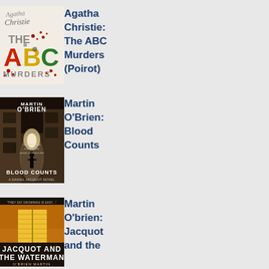[Figure (photo): Book cover of Agatha Christie: The ABC Murders (Poirot) — white/cream background with colorful ABC letters and red blood splatter dots]
Agatha Christie: The ABC Murders (Poirot)
[Figure (photo): Book cover of Martin O'Brien: Blood Counts — dark atmospheric image of a narrow alley with a silhouetted figure]
Martin O'Brien: Blood Counts
[Figure (photo): Book cover of Martin O'Brien: Jacquot and the Waterman — orange/warm toned image with wooden shutters/door]
Martin O'brien: Jacquot and the